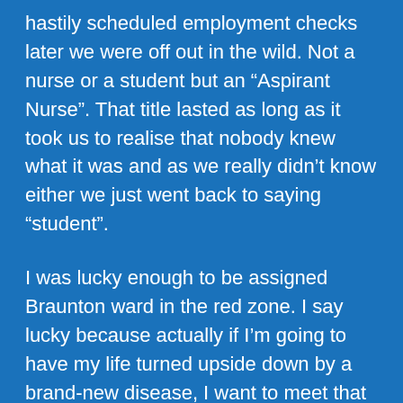hastily scheduled employment checks later we were off out in the wild. Not a nurse or a student but an “Aspirant Nurse”. That title lasted as long as it took us to realise that nobody knew what it was and as we really didn’t know either we just went back to saying “student”.
I was lucky enough to be assigned Braunton ward in the red zone. I say lucky because actually if I’m going to have my life turned upside down by a brand-new disease, I want to meet that disease head on. Plus, I’m also really risk adverse and wanted all the PPE so deemed Braunton to be the safest place in the hospital. Turns out most of Team Covid had similar rationale and I found my people.
Not without some nerves (read “bricking it”) I went for my first shift in “The Red Zone”. With the first goal of